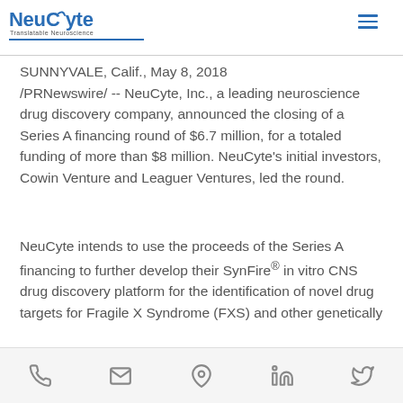NeuCyte | Translatable Neuroscience
SUNNYVALE, Calif., May 8, 2018 /PRNewswire/ -- NeuCyte, Inc., a leading neuroscience drug discovery company, announced the closing of a Series A financing round of $6.7 million, for a totaled funding of more than $8 million. NeuCyte's initial investors, Cowin Venture and Leaguer Ventures, led the round.
NeuCyte intends to use the proceeds of the Series A financing to further develop their SynFire® in vitro CNS drug discovery platform for the identification of novel drug targets for Fragile X Syndrome (FXS) and other genetically
Phone | Email | Location | LinkedIn | Twitter